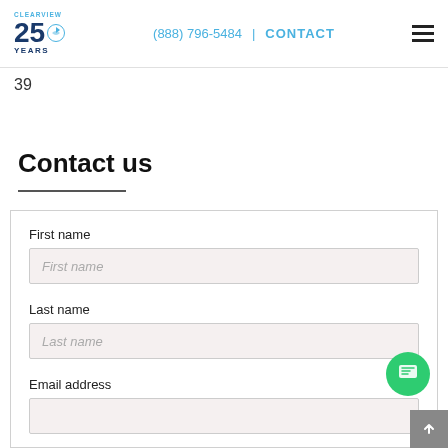Clearview 25 Years | (888) 796-5484 | CONTACT
39
Contact us
First name
Last name
Email address